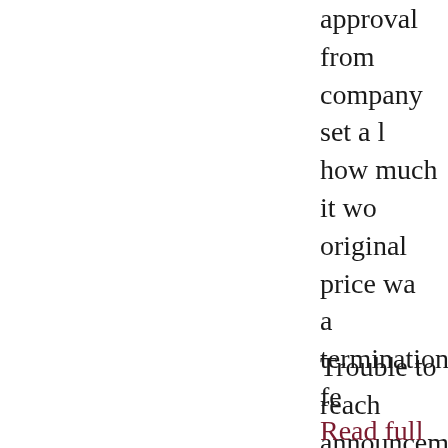approval from company set a l how much it wo original price wa a termination fe
Trouble to reach announcement 2
Read full article